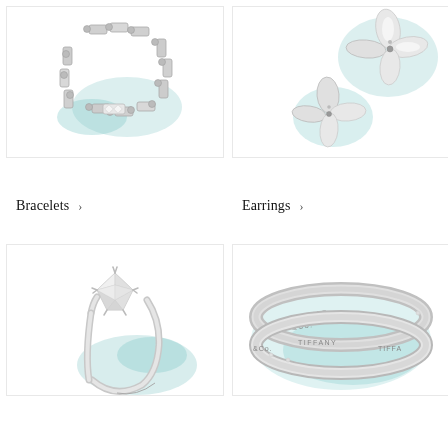[Figure (photo): Silver chain link bracelet with diamond accents on a white and tiffany blue background]
[Figure (photo): Diamond butterfly earrings with marquise-cut stones on a white and tiffany blue background]
Bracelets >
Earrings >
[Figure (photo): Tiffany solitaire diamond engagement ring with round brilliant cut stone on tiffany blue shadow background]
[Figure (photo): Two Tiffany & Co. silver band rings with engraved text on tiffany blue background]